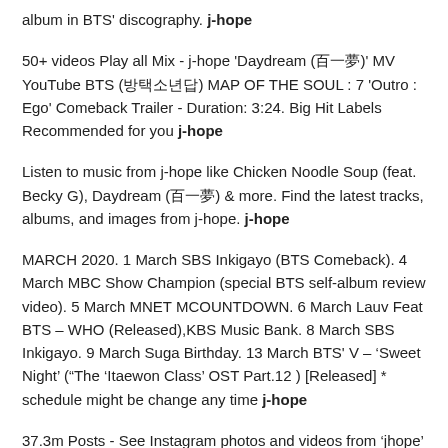album in BTS' discography. j-hope
50+ videos Play all Mix - j-hope 'Daydream (백일몽)' MV YouTube BTS (방탄소년단) MAP OF THE SOUL : 7 'Outro : Ego' Comeback Trailer - Duration: 3:24. Big Hit Labels Recommended for you j-hope
Listen to music from j-hope like Chicken Noodle Soup (feat. Becky G), Daydream (백일몽) & more. Find the latest tracks, albums, and images from j-hope. j-hope
MARCH 2020. 1 March SBS Inkigayo (BTS Comeback). 4 March MBC Show Champion (special BTS self-album review video). 5 March MNET MCOUNTDOWN. 6 March Lauv Feat BTS – WHO (Released),KBS Music Bank. 8 March SBS Inkigayo. 9 March Suga Birthday. 13 March BTS' V – 'Sweet Night' ("The 'Itaewon Class' OST Part.12 ) [Released] * schedule might be change any time j-hope
37.3m Posts - See Instagram photos and videos from 'jhope'